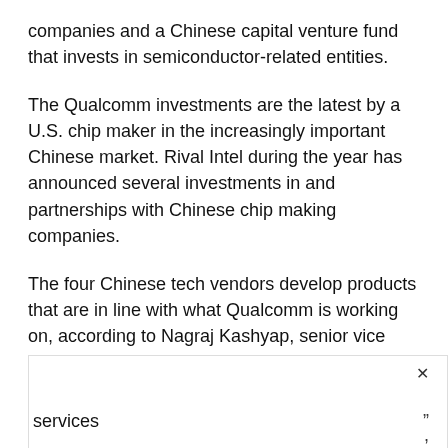companies and a Chinese capital venture fund that invests in semiconductor-related entities.
The Qualcomm investments are the latest by a U.S. chip maker in the increasingly important Chinese market. Rival Intel during the year has announced several investments in and partnerships with Chinese chip making companies.
The four Chinese tech vendors develop products that are in line with what Qualcomm is working on, according to Nagraj Kashyap, senior vice president of Qualcomm Ventures, the chip maker’s investment arm.
“With a focus on semiconductors, mobile application enablers, smart home and healthcare, this group of startup compan services